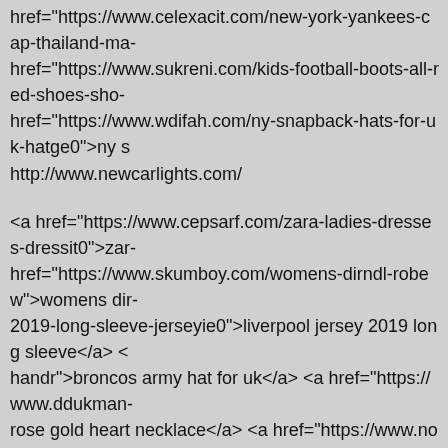href="https://www.celexacit.com/new-york-yankees-cap-thailand-ma- href="https://www.sukreni.com/kids-football-boots-all-red-shoes-sho- href="https://www.wdifah.com/ny-snapback-hats-for-uk-hatge0">ny s http://www.newcarlights.com/
<a href="https://www.cepsarf.com/zara-ladies-dresses-dressit0">zar- href="https://www.skumboy.com/womens-dirndl-robew">womens dir- 2019-long-sleeve-jerseyie0">liverpool jersey 2019 long sleeve</a> < handr">broncos army hat for uk</a> <a href="https://www.ddukman- rose gold heart necklace</a> <a href="https://www.novynha.com/rec- flowimg http://www.flowimg.com/
Excellent. Hi, I'm Martin from MediaPlan. If you have capacity for mo- minute video and let us know if this suits your Media Plan for busine- MediaPlan
Submit your site to over 1000 advertising websites for free now https-
essay helper <a href="https://essaymerino.com/ ">hook essay exam-
thesis examples for essay <a href="https://essaymeshing.com/ ">joh-
<a href="https://www.labelmycd.com/moncler-thin-coat-monclerno"> href="https://www.munoso.net/black-studded-michael-kors-backpach- href="https://www.daileen.net/boden-cassia-jersey-midi-dress-robeit- href="https://www.filecodi.net/ski-brand-hats-handit">ski brand hats<